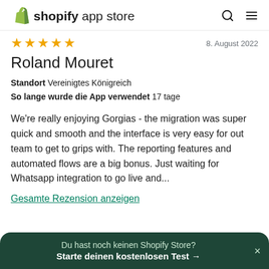shopify app store
[Figure (other): Five gold star rating icons]
8. August 2022
Roland Mouret
Standort  Vereinigtes Königreich
So lange wurde die App verwendet  17 tage
We're really enjoying Gorgias - the migration was super quick and smooth and the interface is very easy for out team to get to grips with. The reporting features and automated flows are a big bonus. Just waiting for Whatsapp integration to go live and...
Gesamte Rezension anzeigen
Du hast noch keinen Shopify Store?
Starte deinen kostenlosen Test →